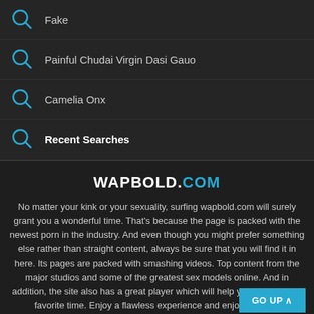Fake
Painful Chudai Virgin Dasi Gauo
Camelia Onx
Recent Searches
WAPBOLD.COM
No matter your kink or your sexuality, surfing wapbold.com will surely grant you a wonderful time. That's because the page is packed with the newest porn in the industry. And even though you might prefer something else rather than straight content, always be sure that you will find it in here. Its pages are packed with smashing videos. Top content from the major studios and some of the greatest sex models online. And in addition, the site also has a great player which will help you stream your favorite time. Enjoy a flawless experience and enjoy t quality.